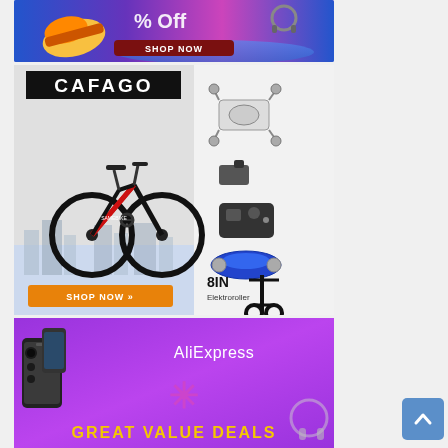[Figure (illustration): Top promotional banner with blue/purple/pink gradient background showing shoes and 'SHOP NOW' button in dark red.]
[Figure (illustration): Cafago banner with electric bicycle on left side, CAFAGO logo in black box, drones and RC toys on right, orange 'SHOP NOW >>' button, and electric scooter labeled '8IN Elektroroller'.]
[Figure (illustration): AliExpress promotional banner with purple background, smartphones displayed, AliExpress logo, decorative asterisk star, and 'GREAT VALUE DEALS' text in yellow.]